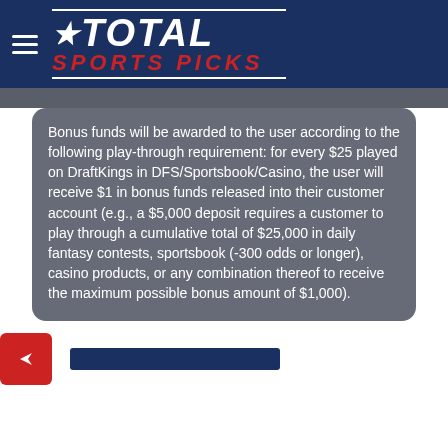Total Sports Picks
Bonus funds will be awarded to the user according to the following play-through requirement: for every $25 played on DraftKings in DFS/Sportsbook/Casino, the user will receive $1 in bonus funds released into their customer account (e.g., a $5,000 deposit requires a customer to play through a cumulative total of $25,000 in daily fantasy contests, sportsbook (-300 odds or longer), casino products, or any combination thereof to receive the maximum possible bonus amount of $1,000).
[Figure (logo): Red share/forward arrow icon button]